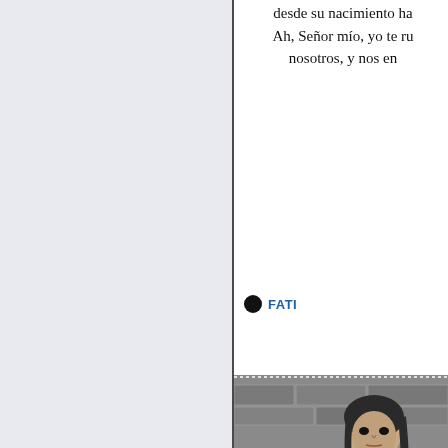desde su nacimiento ha... Ah, Señor mío, yo te ru... nosotros, y nos en...
● FATI...
[Figure (photo): Black and white photograph of a young girl with dark hair wearing a patterned dress, standing against a stone wall]